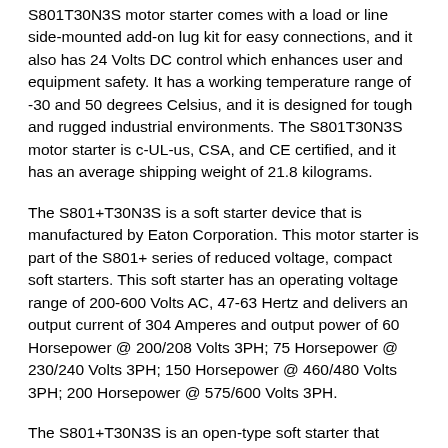S801T30N3S motor starter comes with a load or line side-mounted add-on lug kit for easy connections, and it also has 24 Volts DC control which enhances user and equipment safety. It has a working temperature range of -30 and 50 degrees Celsius, and it is designed for tough and rugged industrial environments. The S801T30N3S motor starter is c-UL-us, CSA, and CE certified, and it has an average shipping weight of 21.8 kilograms.
The S801+T30N3S is a soft starter device that is manufactured by Eaton Corporation. This motor starter is part of the S801+ series of reduced voltage, compact soft starters. This soft starter has an operating voltage range of 200-600 Volts AC, 47-63 Hertz and delivers an output current of 304 Amperes and output power of 60 Horsepower @ 200/208 Volts 3PH; 75 Horsepower @ 230/240 Volts 3PH; 150 Horsepower @ 460/480 Volts 3PH; 200 Horsepower @ 575/600 Volts 3PH.
The S801+T30N3S is an open-type soft starter that comes with built-in features including Bypass contactor, overload protection, adjustable ramp time and adjustable torque control. It also comes with a variety of protective features including jam and stall detection; SCR overtemperature; phase loss and imbalance protection; phase reversal; motor thermistor capabilities;